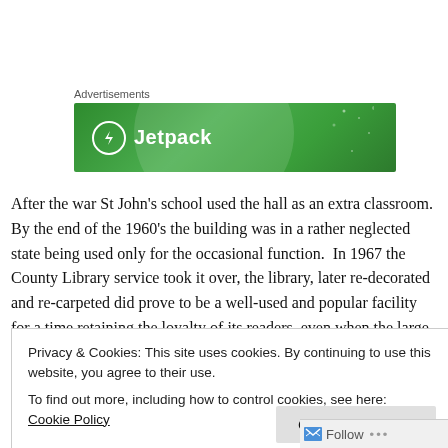Advertisements
[Figure (logo): Jetpack advertisement banner — green gradient background with Jetpack logo (lightning bolt in circle) and 'Jetpack' text in white]
After the war St John's school used the hall as an extra classroom.  By the end of the 1960's the building was in a rather neglected state being used only for the occasional function.  In 1967 the County Library service took it over, the library, later re-decorated and re-carpeted did prove to be a well-used and popular facility for a time retaining the loyalty of its readers, even when the large library was opened in Burnham in 1985.
Privacy & Cookies: This site uses cookies. By continuing to use this website, you agree to their use.
To find out more, including how to control cookies, see here: Cookie Policy
Close and accept
Follow